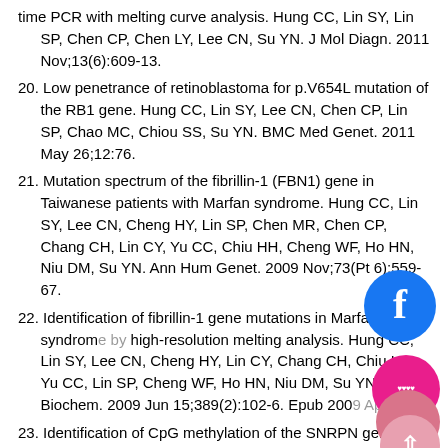time PCR with melting curve analysis. Hung CC, Lin SY, Lin SP, Chen CP, Chen LY, Lee CN, Su YN. J Mol Diagn. 2011 Nov;13(6):609-13.
20. Low penetrance of retinoblastoma for p.V654L mutation of the RB1 gene. Hung CC, Lin SY, Lee CN, Chen CP, Lin SP, Chao MC, Chiou SS, Su YN. BMC Med Genet. 2011 May 26;12:76.
21. Mutation spectrum of the fibrillin-1 (FBN1) gene in Taiwanese patients with Marfan syndrome. Hung CC, Lin SY, Lee CN, Cheng HY, Lin SP, Chen MR, Chen CP, Chang CH, Lin CY, Yu CC, Chiu HH, Cheng WF, Ho HN, Niu DM, Su YN. Ann Hum Genet. 2009 Nov;73(Pt 6):559-67.
22. Identification of fibrillin-1 gene mutations in Marfan syndrome by high-resolution melting analysis. Hung CC, Lin SY, Lee CN, Cheng HY, Lin CY, Chang CH, Chiu HH, Yu CC, Lin SP, Cheng WF, Ho HN, Niu DM, Su YN. Anal Biochem. 2009 Jun 15;389(2):102-6. Epub 2009 Apr 27.
23. Identification of CpG methylation of the SNRPN gene by methylation-specific multiplex PCR. Hung CC, Lin SY, Lin SP, N... Lee NC, Cheng WF, Chen CP, Lin WL, Lee CN, Su YN. Electrophoresis. 2009 Jan;30(2):410-6.
24. Comparison of the mismatch-specific endonuclease method and denaturing high-performance liquid chromatography for the identification of HBB...